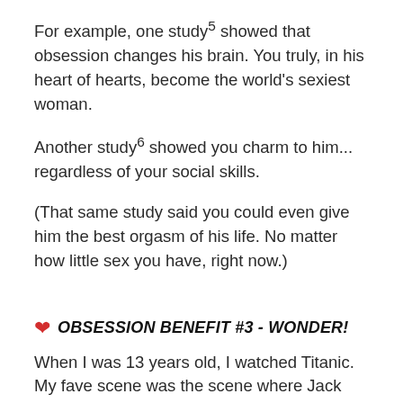For example, one study⁵ showed that obsession changes his brain. You truly, in his heart of hearts, become the world's sexiest woman.
Another study⁶ showed you charm to him... regardless of your social skills.
(That same study said you could even give him the best orgasm of his life. No matter how little sex you have, right now.)
❤ OBSESSION BENEFIT #3 - WONDER!
When I was 13 years old, I watched Titanic. My fave scene was the scene where Jack drew Rose. Not because it was my first time seeing a woman topless...
But because there was Rose giving Jack that look...